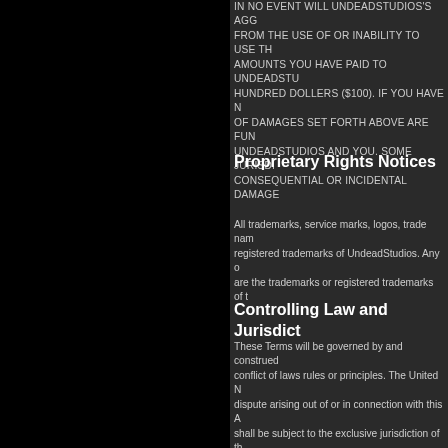IN NO EVENT WILL UNDEADSTUDIOS'S AGG FROM THE USE OF OR INABILITY TO USE TH AMOUNTS YOU HAVE PAID TO UNDEADSTU HUNDRED DOLLERS ($100). IF YOU HAVE N OF DAMAGES SET FORTH ABOVE ARE FUN UNDEADSTUDIOS AND YOU. SOME JURISDI CONSEQUENTIAL OR INCIDENTAL DAMAGE
Proprietary Rights Notices
All trademarks, service marks, logos, trade nam registered trademarks of UndeadStudios. Any o are the trademarks or registered trademarks of t
Controlling Law and Jurisdict
These Terms will be governed by and construed conflict of laws rules or principles. The United N dispute arising out of or in connection with this A shall be subject to the exclusive jurisdiction of th have the right to seek injunctive remedies (or ar
Entire Agreement
These Terms constitute the entire and exclusive Services, Content and User Content, and these agreements between UndeadStudios and you